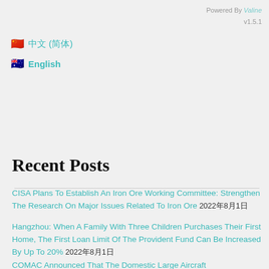Powered By Valine v1.5.1
🇨🇳 中文 (简体)
🇦🇺 English
Recent Posts
CISA Plans To Establish An Iron Ore Working Committee: Strengthen The Research On Major Issues Related To Iron Ore 2022年8月1日
Hangzhou: When A Family With Three Children Purchases Their First Home, The First Loan Limit Of The Provident Fund Can Be Increased By Up To 20% 2022年8月1日
COMAC Announced That The Domestic Large Aircraft...